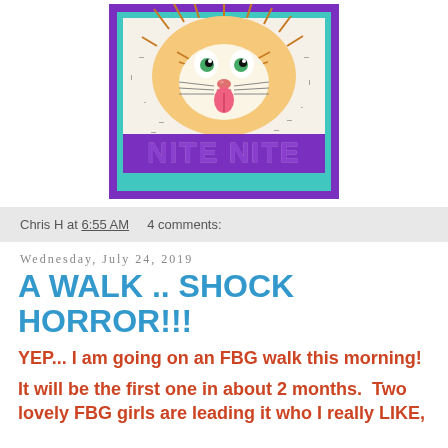[Figure (illustration): Cartoon cat illustration with wild hair and tongue sticking out, on a purple and teal bordered background, with 'NITE NITE' text in purple block letters]
Chris H at 6:55 AM    4 comments:
Wednesday, July 24, 2019
A WALK .. SHOCK HORROR!!!
YEP... I am going on an FBG walk this morning!
It will be the first one in about 2 months.  Two lovely FBG girls are leading it who I really LIKE,